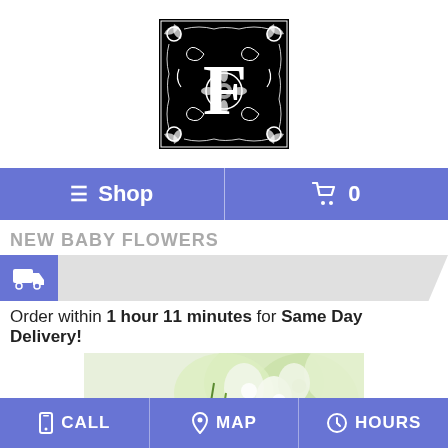[Figure (logo): Ornate decorative letter F logo in black and white with floral/vine patterns]
≡ Shop   🛒 0
NEW BABY FLOWERS
Order within 1 hour 11 minutes for Same Day Delivery!
[Figure (photo): Partial photo of green/white flowers arrangement]
CALL   MAP   HOURS